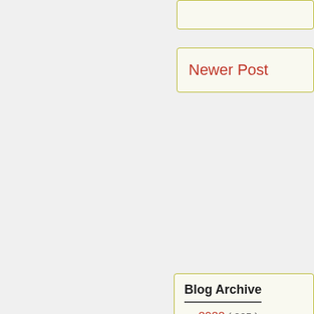Newer Post
Blog Archive
► 2022 ( 805 )
► 2021 ( 1500 )
▼ 2020 ( 1421 )
► December ( 124 )
► November ( 139 )
► October ( 105 )
► September ( 80 )
► August ( 110 )